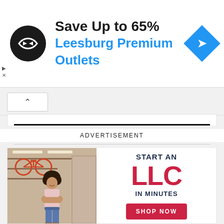[Figure (infographic): Advertisement banner: 'Save Up to 65%' with 'Leesburg Premium Outlets' in blue, showing a circular black icon with double arrow logo and a blue diamond navigation arrow on the right.]
ADVERTISEMENT
[Figure (infographic): LLC formation advertisement showing a woman standing in a retail shop on the left, and text on the right: 'START AN LLC IN MINUTES' with a red 'SHOP NOW' button.]